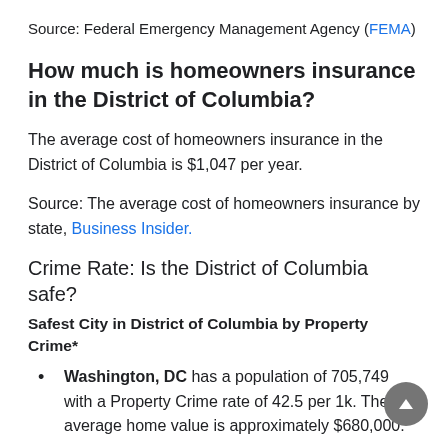Source: Federal Emergency Management Agency (FEMA)
How much is homeowners insurance in the District of Columbia?
The average cost of homeowners insurance in the District of Columbia is $1,047 per year.
Source: The average cost of homeowners insurance by state, Business Insider.
Crime Rate: Is the District of Columbia safe?
Safest City in District of Columbia by Property Crime*
Washington, DC has a population of 705,749 with a Property Crime rate of 42.5 per 1k. The city average home value is approximately $680,000.
*Based on FBI Uniform Crime Reporting 2019, some cities